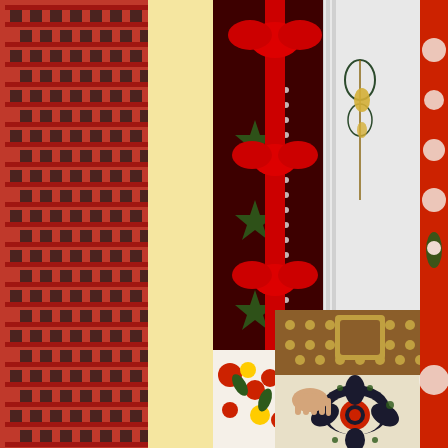[Figure (photo): A composite image with a light yellow/cream vertical band on the left side (approximately 60px wide), flanked by two photographs. The left photo shows a close-up of a traditional Eastern European folk textile/carpet with red and black geometric patterns. The right and main portion shows two people wearing traditional folk costumes: on the left a woman in a floral embroidered dress with red ribbons and a dark embroidered overlay with star patterns, and on the right a child/youth in a white embroidered shirt with decorative front panel, a wide ornate leather belt with metal studs and embellishments, and cream-colored pants with elaborate dark and red embroidered motifs at the hem. The overall scene depicts traditional Romanian or Ukrainian folk costumes at what appears to be a cultural event or festival.]